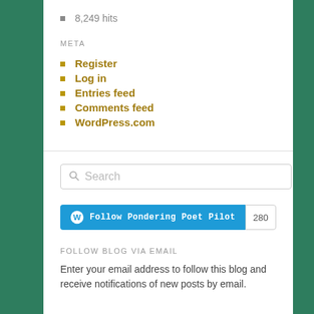8,249 hits
META
Register
Log in
Entries feed
Comments feed
WordPress.com
[Figure (screenshot): Search input box with placeholder text 'Search' and a magnifying glass icon]
[Figure (infographic): Follow button for 'Follow Pondering Poet Pilot' with WordPress logo and follower count of 280]
FOLLOW BLOG VIA EMAIL
Enter your email address to follow this blog and receive notifications of new posts by email.